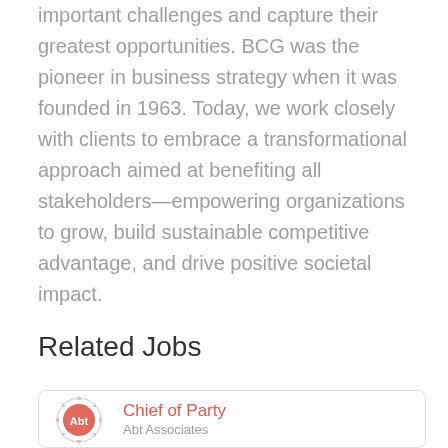important challenges and capture their greatest opportunities. BCG was the pioneer in business strategy when it was founded in 1963. Today, we work closely with clients to embrace a transformational approach aimed at benefiting all stakeholders—empowering organizations to grow, build sustainable competitive advantage, and drive positive societal impact.
Related Jobs
Chief of Party
Abt Associates